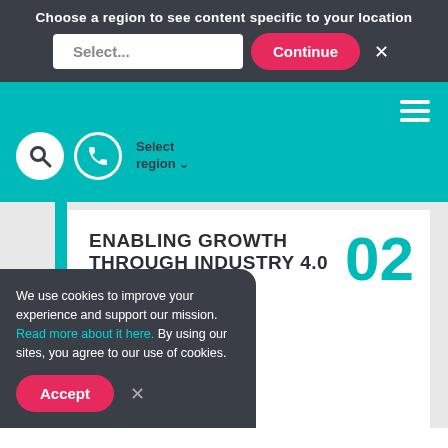Choose a region to see content specific to your location
[Figure (screenshot): Teal navigation bar with hamburger menu, search icon, phone icon, and Select region dropdown]
ENABLING GROWTH THROUGH INDUSTRY 4.0
, independent be on hand to help you advantage of the very ments across the ace. We have expertise
We use cookies to improve your experience and support our mission. Read more about it here. By using our sites, you agree to our use of cookies.